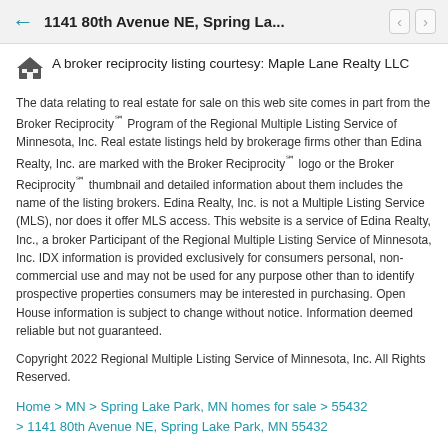1141 80th Avenue NE, Spring La...
A broker reciprocity listing courtesy: Maple Lane Realty LLC
The data relating to real estate for sale on this web site comes in part from the Broker Reciprocity℠ Program of the Regional Multiple Listing Service of Minnesota, Inc. Real estate listings held by brokerage firms other than Edina Realty, Inc. are marked with the Broker Reciprocity℠ logo or the Broker Reciprocity℠ thumbnail and detailed information about them includes the name of the listing brokers. Edina Realty, Inc. is not a Multiple Listing Service (MLS), nor does it offer MLS access. This website is a service of Edina Realty, Inc., a broker Participant of the Regional Multiple Listing Service of Minnesota, Inc. IDX information is provided exclusively for consumers personal, non-commercial use and may not be used for any purpose other than to identify prospective properties consumers may be interested in purchasing. Open House information is subject to change without notice. Information deemed reliable but not guaranteed.
Copyright 2022 Regional Multiple Listing Service of Minnesota, Inc. All Rights Reserved.
Home > MN > Spring Lake Park, MN homes for sale > 55432 > 1141 80th Avenue NE, Spring Lake Park, MN 55432